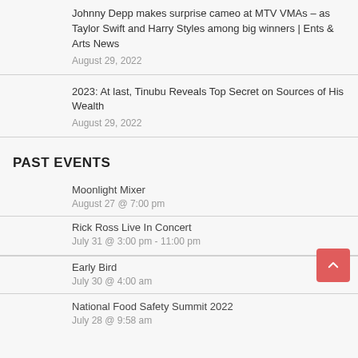Johnny Depp makes surprise cameo at MTV VMAs – as Taylor Swift and Harry Styles among big winners | Ents & Arts News
August 29, 2022
2023: At last, Tinubu Reveals Top Secret on Sources of His Wealth
August 29, 2022
PAST EVENTS
Moonlight Mixer
August 27 @ 7:00 pm
Rick Ross Live In Concert
July 31 @ 3:00 pm - 11:00 pm
Early Bird
July 30 @ 4:00 am
National Food Safety Summit 2022
July 28 @ 9:58 am